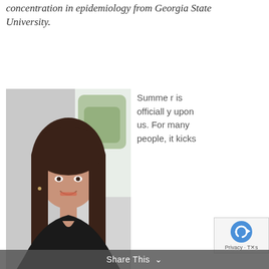concentration in epidemiology from Georgia State University.
[Figure (photo): Headshot photo of a young woman with long brown hair, smiling, wearing a black top, standing near a window with greenery visible outside.]
Summer is officially upon us. For many people, it kicks off with a month of graduation parties, weddings and Father's Day festivities. But between the backyard barbecues and afternoons at the pool, we can't forget to celebrate National Men's Health Week, which takes place June 13-20. The goal of this annual